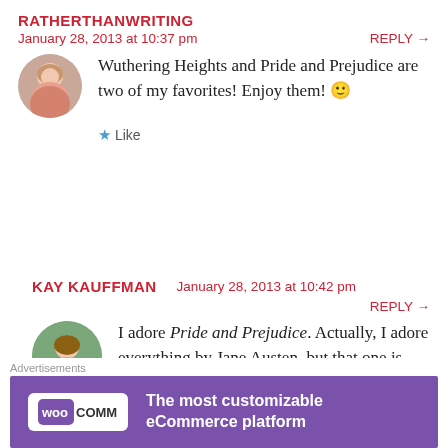RATHERTHANWRITING
January 28, 2013 at 10:37 pm    REPLY →
Wuthering Heights and Pride and Prejudice are two of my favorites! Enjoy them! 🙂
★ Like
KAY KAUFFMAN   January 28, 2013 at 10:42 pm   REPLY →
I adore Pride and Prejudice. Actually, I adore everything by Jane Austen, but that one is one
Advertisements
[Figure (other): WooCommerce advertisement banner: purple background with WooCommerce logo and text 'The most customizable eCommerce platform']